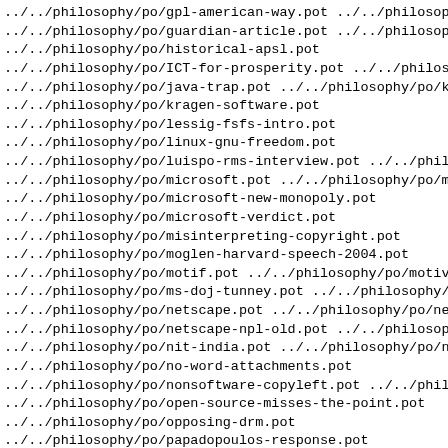../../philosophy/po/gpl-american-way.pot ../../philosophy
../../philosophy/po/guardian-article.pot ../../philosophy
../../philosophy/po/historical-apsl.pot
../../philosophy/po/ICT-for-prosperity.pot ../../philosop
../../philosophy/po/java-trap.pot ../../philosophy/po/key
../../philosophy/po/kragen-software.pot
../../philosophy/po/lessig-fsfs-intro.pot
../../philosophy/po/linux-gnu-freedom.pot
../../philosophy/po/luispo-rms-interview.pot ../../philos
../../philosophy/po/microsoft.pot ../../philosophy/po/mic
../../philosophy/po/microsoft-new-monopoly.pot
../../philosophy/po/microsoft-verdict.pot
../../philosophy/po/misinterpreting-copyright.pot
../../philosophy/po/moglen-harvard-speech-2004.pot
../../philosophy/po/motif.pot ../../philosophy/po/motivat
../../philosophy/po/ms-doj-tunney.pot ../../philosophy/po
../../philosophy/po/netscape.pot ../../philosophy/po/nets
../../philosophy/po/netscape-npl-old.pot ../../philosophy
../../philosophy/po/nit-india.pot ../../philosophy/po/no-
../../philosophy/po/no-word-attachments.pot
../../philosophy/po/nonsoftware-copyleft.pot ../../philos
../../philosophy/po/open-source-misses-the-point.pot
../../philosophy/po/opposing-drm.pot
../../philosophy/po/papadopoulos-response.pot
../../philosophy/po/patent-practice-panel.pot
../../philosophy/po/patent-reform-is-not-enough.pot
../../philosophy/po/philosophy.pot ../../philosophy/po/ph
../../philosophy/po/pragmatic.pot ../../philosophy/po/pr
../../philosophy/po/protecting.pot ../../philosophy/po/pu
../..//philosophy/po/reevaluating-copyright.pot ../../ph